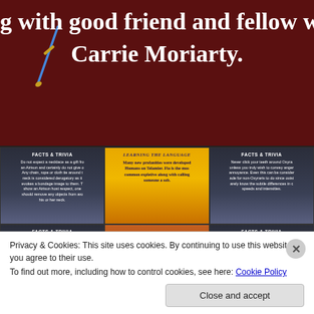[Figure (screenshot): Banner image with dark red/brown background, sword graphic on left, white serif text reading 'g with good friend and fellow wr' on top line and 'Carrie Moriarty.' on second line]
[Figure (screenshot): Grid of 6 cards: top row has 3 cards (FACTS & TRIVIA dark, LEARNING THE LANGUAGE yellow, FACTS & TRIVIA dark); bottom row has 3 cards (FACTS & TRIVIA dark, CREATING NIGHT HAWK orange, FACTS & TRIVIA dark). Each card has header text and body text about a fantasy world setting.]
Privacy & Cookies: This site uses cookies. By continuing to use this website, you agree to their use.
To find out more, including how to control cookies, see here: Cookie Policy
Close and accept